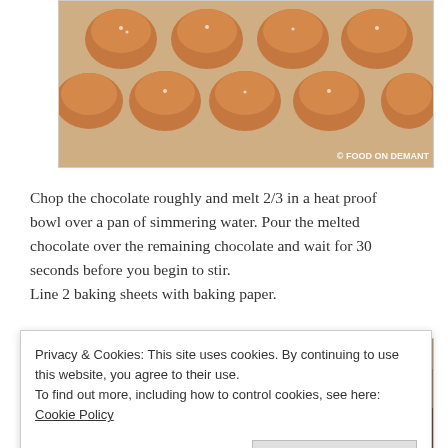[Figure (photo): Brown round chocolate candies/truffles on baking paper with sugar crystals, watermark '© FOOD ON DEMANT' in lower right corner]
Chop the chocolate roughly and melt 2/3 in a heat proof bowl over a pan of simmering water. Pour the melted chocolate over the remaining chocolate and wait for 30 seconds before you begin to stir.
Line 2 baking sheets with baking paper.
[Figure (photo): Two side-by-side food preparation photos partially visible — left shows blue/turquoise background, right shows brown/caramel tones]
Privacy & Cookies: This site uses cookies. By continuing to use this website, you agree to their use.
To find out more, including how to control cookies, see here: Cookie Policy
Close and accept
[Figure (photo): Two side-by-side food photos partially visible at bottom — dark chocolate colored]